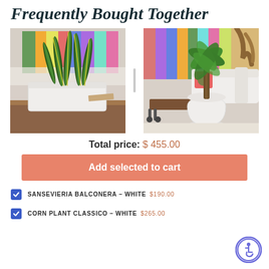Frequently Bought Together
[Figure (photo): Two product photos side by side: left shows a Sansevieria Balconera in a white rectangular planter on a wooden table with colorful artwork behind; right shows a Corn Plant Classico in a white round pot in a living room with colorful decor.]
Total price: $ 455.00
Add selected to cart
SANSEVIERIA BALCONERA – WHITE $190.00
CORN PLANT CLASSICO – WHITE $265.00